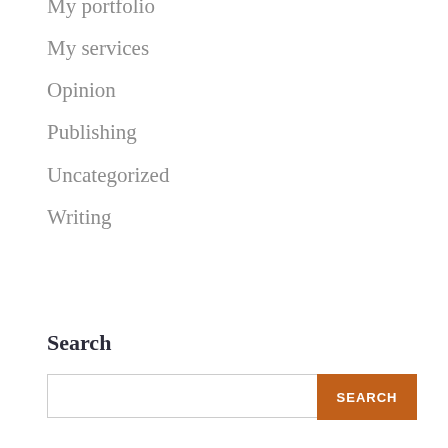My portfolio
My services
Opinion
Publishing
Uncategorized
Writing
Search